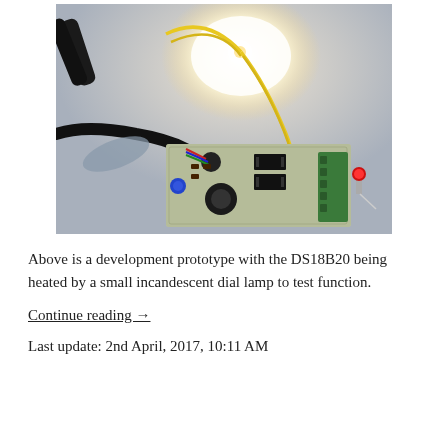[Figure (photo): A development prototype circuit board with DS18B20 temperature sensor being heated by a small incandescent dial lamp. Yellow wires connect from a probe at top to the PCB below. Black wires and pliers/clips are visible. A red LED is on the right side. The lamp glows brightly at top center.]
Above is a development prototype with the DS18B20 being heated by a small incandescent dial lamp to test function.
Continue reading →
Last update: 2nd April, 2017, 10:11 AM